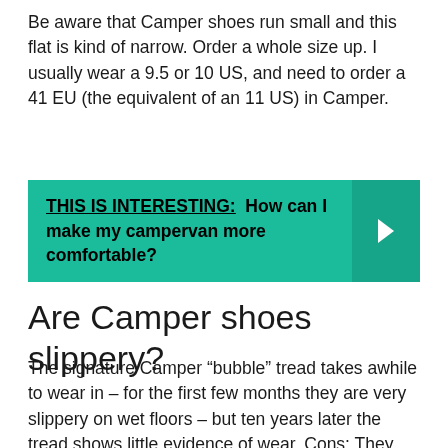Be aware that Camper shoes run small and this flat is kind of narrow. Order a whole size up. I usually wear a 9.5 or 10 US, and need to order a 41 EU (the equivalent of an 11 US) in Camper.
THIS IS INTERESTING:  How can I make my campervan more comfortable?
Are Camper shoes slippery?
The signature Camper “bubble” tread takes awhile to wear in – for the first few months they are very slippery on wet floors – but ten years later the tread shows little evidence of wear. Cons: They tend to run a bit narrow for